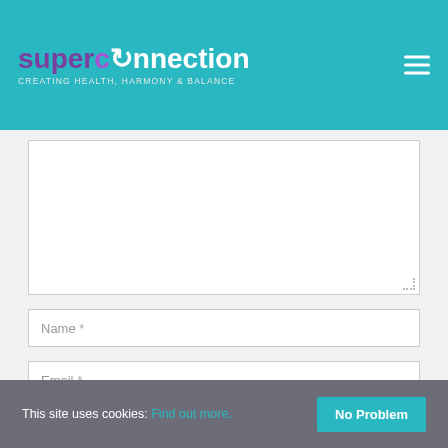superconnection — CREATING HEALTH, HARMONY & BALANCE
[Figure (screenshot): Comment form textarea (empty), followed by Name, Email, and Website input fields on a light gray background]
This site uses cookies: Find out more. No Problem